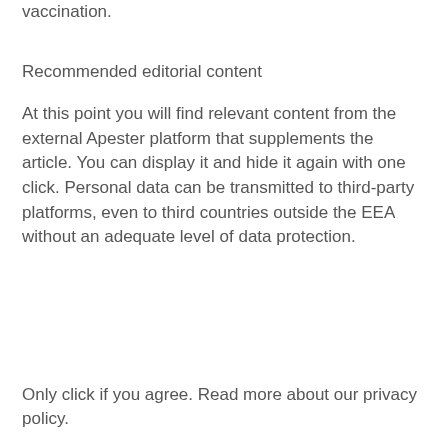vaccination.
Recommended editorial content
At this point you will find relevant content from the external Apester platform that supplements the article. You can display it and hide it again with one click. Personal data can be transmitted to third-party platforms, even to third countries outside the EEA without an adequate level of data protection.
Only click if you agree. Read more about our privacy policy.